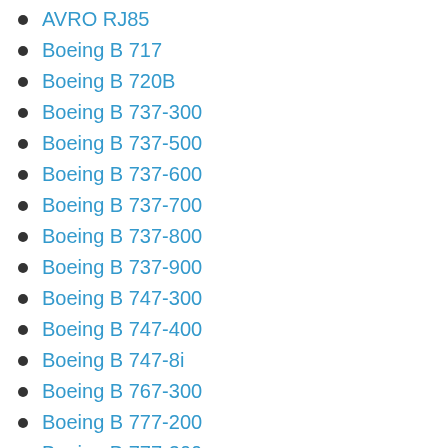AVRO RJ85
Boeing B 717
Boeing B 720B
Boeing B 737-300
Boeing B 737-500
Boeing B 737-600
Boeing B 737-700
Boeing B 737-800
Boeing B 737-900
Boeing B 747-300
Boeing B 747-400
Boeing B 747-8i
Boeing B 767-300
Boeing B 777-200
Boeing B 777-300
Boeing B 787-8